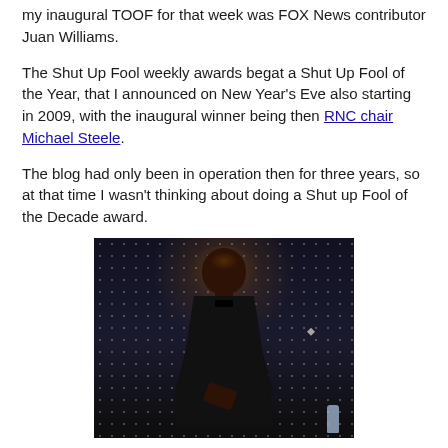my inaugural TOOF for that week was FOX News contributor Juan Williams.
The Shut Up Fool weekly awards begat a Shut Up Fool of the Year, that I announced on New Year's Eve also starting in 2009, with the inaugural winner being then RNC chair Michael Steele.
The blog had only been in operation then for three years, so at that time I wasn't thinking about doing a Shut up Fool of the Decade award.
[Figure (photo): A man in a dark suit with bow tie standing in front of a dotted LED backdrop with warm spotlight lighting, giving a thumbs up gesture. A water bottle is visible at the lower right.]